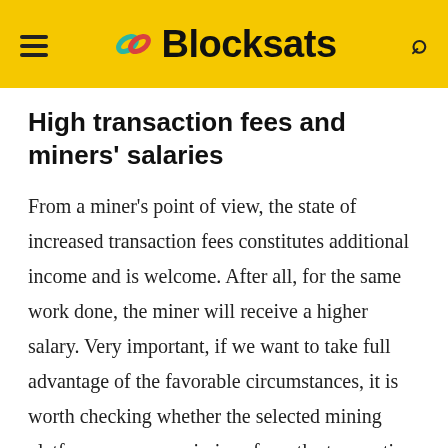Blocksats
High transaction fees and miners' salaries
From a miner's point of view, the state of increased transaction fees constitutes additional income and is welcome. After all, for the same work done, the miner will receive a higher salary. Very important, if we want to take full advantage of the favorable circumstances, it is worth checking whether the selected mining platform pays commissions from the transaction fees to miners or just stops at the base remuneration for